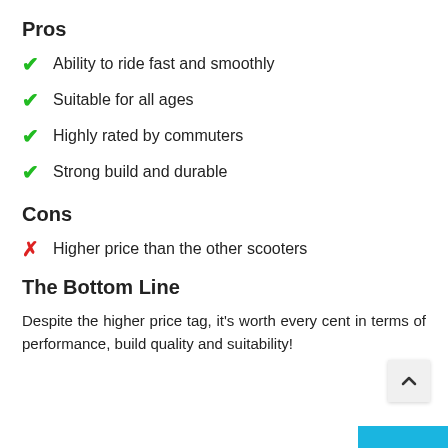Pros
Ability to ride fast and smoothly
Suitable for all ages
Highly rated by commuters
Strong build and durable
Cons
Higher price than the other scooters
The Bottom Line
Despite the higher price tag, it's worth every cent in terms of performance, build quality and suitability!